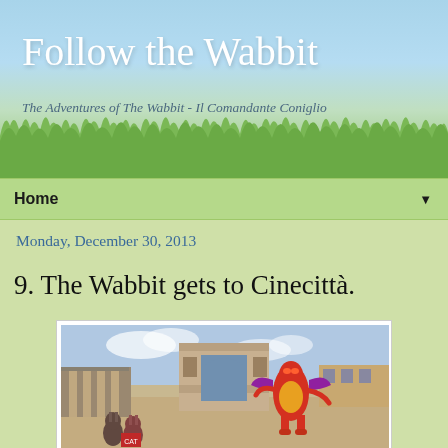Follow the Wabbit
The Adventures of The Wabbit - Il Comandante Coniglio
Home ▼
Monday, December 30, 2013
9. The Wabbit gets to Cinecittà.
[Figure (photo): A scene at Cinecittà film studios showing a Roman arch/triumphal gate in the background, a large colorful dragon/monster character standing in the center of a plaza, and two small cartoon rabbit characters in the foreground left.]